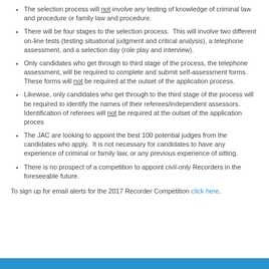The selection process will not involve any testing of knowledge of criminal law and procedure or family law and procedure.
There will be four stages to the selection process. This will involve two different on-line tests (testing situational judgment and critical analysis), a telephone assessment, and a selection day (role play and interview).
Only candidates who get through to third stage of the process, the telephone assessment, will be required to complete and submit self-assessment forms. These forms will not be required at the outset of the application process.
Likewise, only candidates who get through to the third stage of the process will be required to identify the names of their referees/independent assessors. Identification of referees will not be required at the outset of the application proces
The JAC are looking to appoint the best 100 potential judges from the candidates who apply. It is not necessary for candidates to have any experience of criminal or family law, or any previous experience of sitting.
There is no prospect of a competition to appoint civil-only Recorders in the foreseeable future.
To sign up for email alerts for the 2017 Recorder Competition click here.